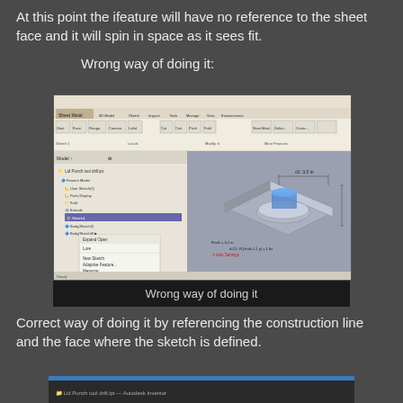At this point the ifeature will have no reference to the sheet face and it will spin in space as it sees fit.
Wrong way of doing it:
[Figure (screenshot): Autodesk Inventor CAD software screenshot showing a sheet metal part with a punch feature placed incorrectly without referencing the sheet face. The feature appears spinning in space above a flat sheet metal surface. The interface shows a model browser on the left and a right-click context menu.]
Wrong way of doing it
Correct way of doing it by referencing the construction line and the face where the sketch is defined.